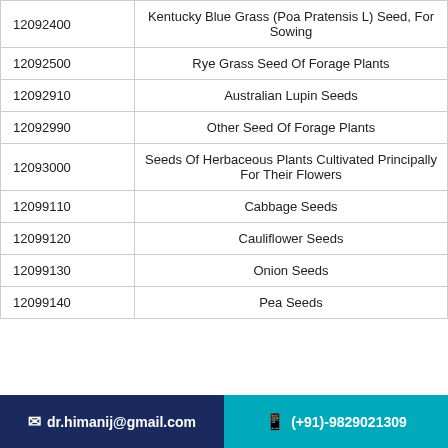| Code | Description |
| --- | --- |
| 12092400 | Kentucky Blue Grass (Poa Pratensis L) Seed, For Sowing |
| 12092500 | Rye Grass Seed Of Forage Plants |
| 12092910 | Australian Lupin Seeds |
| 12092990 | Other Seed Of Forage Plants |
| 12093000 | Seeds Of Herbaceous Plants Cultivated Principally For Their Flowers |
| 12099110 | Cabbage Seeds |
| 12099120 | Cauliflower Seeds |
| 12099130 | Onion Seeds |
| 12099140 | Pea Seeds |
✉ dr.himanij@gmail.com   📱 (+91)-9829021309